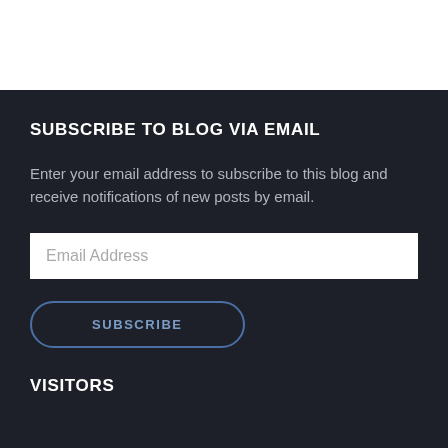SUBSCRIBE TO BLOG VIA EMAIL
Enter your email address to subscribe to this blog and receive notifications of new posts by email.
VISITORS